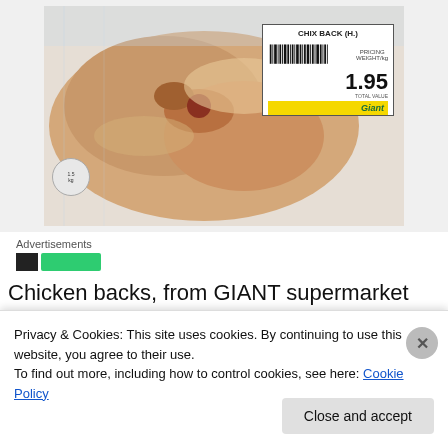[Figure (photo): Packaged raw chicken backs on a white tray with a Giant supermarket price label showing CHIX BACK (H.) at $1.95]
Advertisements
Chicken backs, from GIANT supermarket
[Figure (photo): Second image partially visible, appears to be another food or product photo]
Privacy & Cookies: This site uses cookies. By continuing to use this website, you agree to their use.
To find out more, including how to control cookies, see here: Cookie Policy